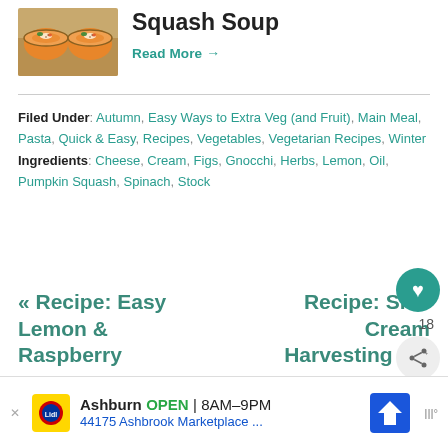[Figure (photo): Two bowls of orange squash soup with cream and garnish on a wooden surface]
Squash Soup
Read More →
Filed Under: Autumn, Easy Ways to Extra Veg (and Fruit), Main Meal, Pasta, Quick & Easy, Recipes, Vegetables, Vegetarian Recipes, Winter
Ingredients: Cheese, Cream, Figs, Gnocchi, Herbs, Lemon, Oil, Pumpkin Squash, Spinach, Stock
« Recipe: Easy Lemon & Raspberry
Recipe: Sloe Cream Harvesting the
[Figure (screenshot): Advertisement banner: Ashburn OPEN 8AM–9PM, 44175 Ashbrook Marketplace...]